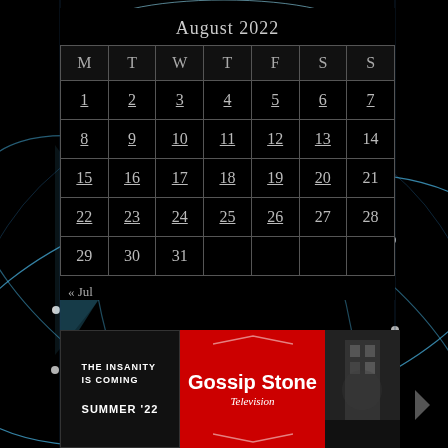[Figure (illustration): Dark sci-fi/technology themed background with atom/globe orbital lines in blue on black, with light beams and geometric shapes]
August 2022
| M | T | W | T | F | S | S |
| --- | --- | --- | --- | --- | --- | --- |
| 1 | 2 | 3 | 4 | 5 | 6 | 7 |
| 8 | 9 | 10 | 11 | 12 | 13 | 14 |
| 15 | 16 | 17 | 18 | 19 | 20 | 21 |
| 22 | 23 | 24 | 25 | 26 | 27 | 28 |
| 29 | 30 | 31 |  |  |  |  |
« Jul
[Figure (logo): Gossip Stone Television banner ad with left panel showing 'THE INSANITY IS COMING SUMMER 22' on dark marquee board, center red panel with 'Gossip Stone Television' text in white, right panel showing dark street/building photo]